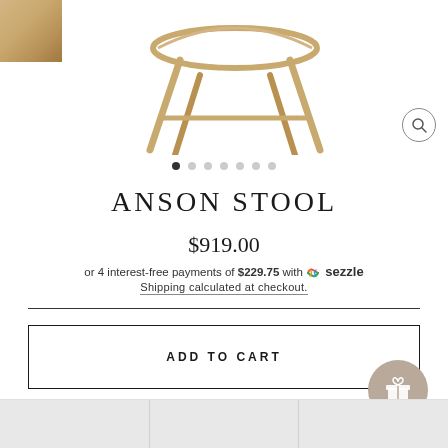[Figure (photo): Product image area showing an Anson Stool with wooden legs, a wood grain swatch in the top-left corner, and a zoom/magnify button in the top-right corner. Image carousel with dot navigation below.]
ANSON STOOL
$919.00
or 4 interest-free payments of $229.75 with sezzle
Shipping calculated at checkout.
ADD TO CART